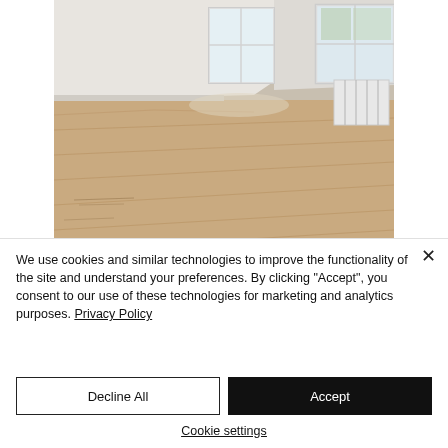[Figure (photo): Interior photo of an empty attic room with light oak hardwood floors, slanted white ceiling/walls, two windows with natural light, and a white radiator on the right wall.]
We use cookies and similar technologies to improve the functionality of the site and understand your preferences. By clicking "Accept", you consent to our use of these technologies for marketing and analytics purposes. Privacy Policy
Decline All
Accept
Cookie settings